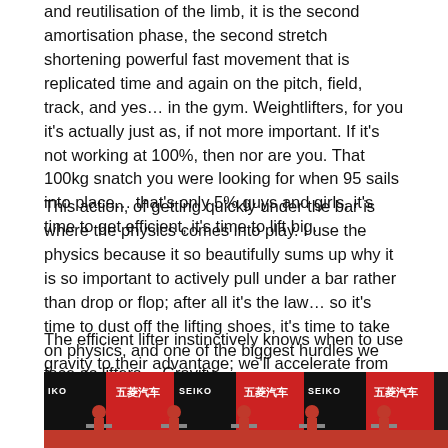and reutilisation of the limb, it is the second amortisation phase, the second stretch shortening powerful fast movement that is replicated time and again on the pitch, field, track, and yes… in the gym. Weightlifters, for you it's actually just as, if not more important. If it's not working at 100%, then nor are you. That 100kg snatch you were looking for when 95 sails into place… that's only 5% guys and girls, it's time to get efficient, it's time to lift big.
This action, of getting quickly under the bar is where the physics comes into play. I use the physics because it so beautifully sums up why it is so important to actively pull under a bar rather than drop or flop; after all it's the law… so it's time to dust off the lifting shoes, it's time to take on physics, and one of the biggest hurdles we face as lifters… Gravity.
The efficient lifter instinctively knows when to use gravity to their advantage; we'll accelerate from standstill towards earth at 9.81 m/s², but why wait?
[Figure (photo): Weightlifters on stage at a competition with SEIKO and Chinese brand banners in the background, athletes in red uniforms at the platform.]